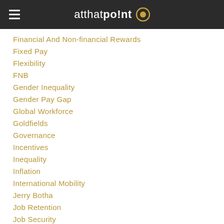atthatpo!nt
Financial And Non-financial Rewards
Fixed Pay
Flexibility
FNB
Gender Inequality
Gender Pay Gap
Global Workforce
Goldfields
Governance
Incentives
Inequality
Inflation
International Mobility
Jerry Botha
Job Retention
Job Security
Job Seekers
Kevan Hawley
Khokhela Consulting